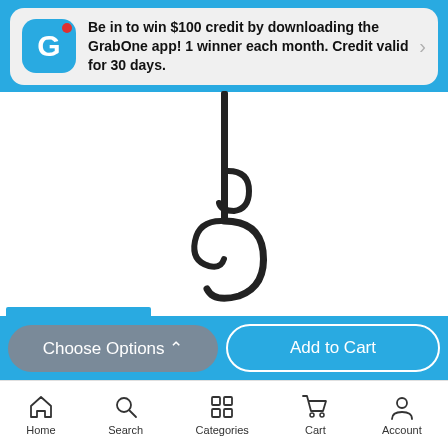[Figure (screenshot): GrabOne app notification banner with G logo icon and red dot, text about winning $100 credit by downloading the GrabOne app]
Be in to win $100 credit by downloading the GrabOne app! 1 winner each month. Credit valid for 30 days.
[Figure (photo): Black metal storage rack hook for two bikes, J-shaped double hook on a pole]
FREE DELIVERY
Storage Rack for Two Bikes
Choose Options ^
Add to Cart
Home  Search  Categories  Cart  Account